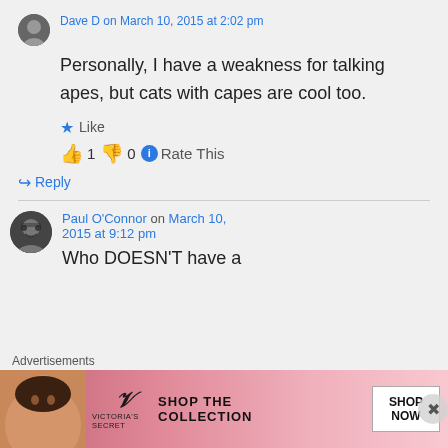Personally, I have a weakness for talking apes, but cats with capes are cool too.
Like
👍 1 👎 0 ℹ Rate This
↪ Reply
Paul O'Connor on March 10, 2015 at 9:12 pm
Who DOESN'T have a
Advertisements
[Figure (illustration): Victoria's Secret advertisement banner with model, VS logo, 'SHOP THE COLLECTION' text and 'SHOP NOW' button]